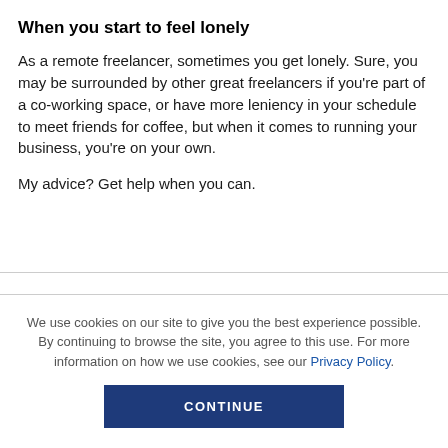When you start to feel lonely
As a remote freelancer, sometimes you get lonely. Sure, you may be surrounded by other great freelancers if you're part of a co-working space, or have more leniency in your schedule to meet friends for coffee, but when it comes to running your business, you're on your own.
My advice? Get help when you can.
We use cookies on our site to give you the best experience possible. By continuing to browse the site, you agree to this use. For more information on how we use cookies, see our Privacy Policy.
CONTINUE